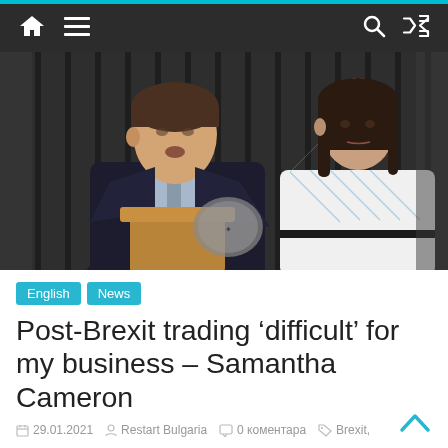Navigation bar with home, menu, search, and shuffle icons
[Figure (photo): David Cameron speaking at a podium outside 10 Downing Street with Samantha Cameron standing behind him. Black iron railings in background.]
English  News
Post-Brexit trading 'difficult' for my business – Samantha Cameron
29.01.2021  Restart Bulgaria  0 коментара  Brexit,